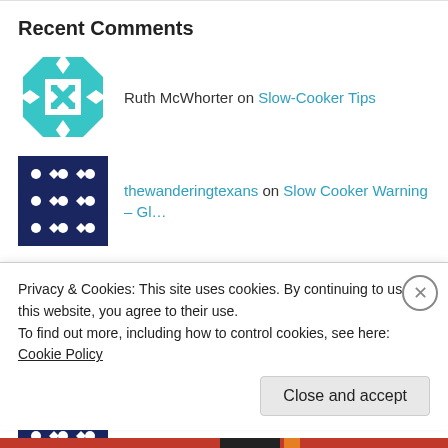Recent Comments
Ruth McWhorter on Slow-Cooker Tips
thewanderingtexans on Slow Cooker Warning – Gl…
Lynette urinko on Slow Cooker Warning – Gl…
thewanderingtexans on Cruise Cuisine – Sapphir…
Privacy & Cookies: This site uses cookies. By continuing to use this website, you agree to their use.
To find out more, including how to control cookies, see here: Cookie Policy